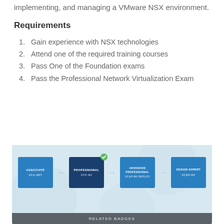implementing, and managing a VMware NSX environment.
Requirements
Gain experience with NSX technologies
Attend one of the required training courses
Pass One of the Foundation exams
Pass the Professional Network Virtualization Exam
[Figure (infographic): VMware certification pathway diagram showing four levels: ASSOCIATE (VCA-DET), PROFESSIONAL (VCP-NV) with checkmark badge, ADVANCED PROFESSIONAL (VCAP-NV DEPLOY), and DESIGN EXPERT (VCDX-NV), connected by arrows from left to right. Footer bar reads RELATED BADGES.]